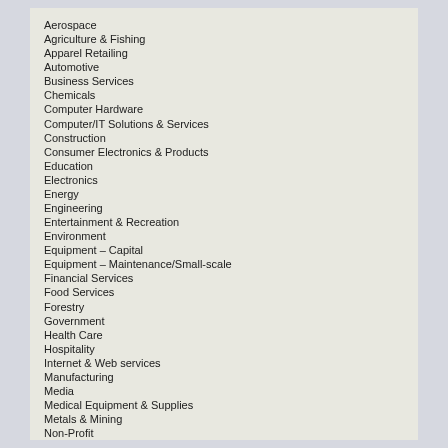Aerospace
Agriculture & Fishing
Apparel Retailing
Automotive
Business Services
Chemicals
Computer Hardware
Computer/IT Solutions & Services
Construction
Consumer Electronics & Products
Education
Electronics
Energy
Engineering
Entertainment & Recreation
Environment
Equipment – Capital
Equipment – Maintenance/Small-scale
Financial Services
Food Services
Forestry
Government
Health Care
Hospitality
Internet & Web services
Manufacturing
Media
Medical Equipment & Supplies
Metals & Mining
Non-Profit
Pharmaceuticals
Publishing & Printing
Real Estate – Operating
Real Estate – Sales & Leasing
Religious Services
Retail